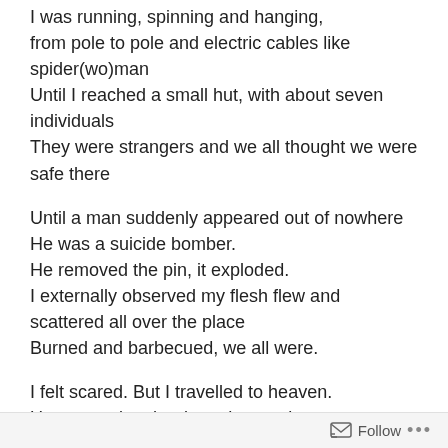I was running, spinning and hanging,
from pole to pole and electric cables like spider(wo)man
Until I reached a small hut, with about seven individuals
They were strangers and we all thought we were safe there
Until a man suddenly appeared out of nowhere
He was a suicide bomber.
He removed the pin, it exploded.
I externally observed my flesh flew and scattered all over the place
Burned and barbecued, we all were.

I felt scared. But I travelled to heaven.
Upon entering the door, the gatekeeper gave me few hours to visit everyone I want to visit
He said I have to come back on time otherwise, the gate
Follow ...